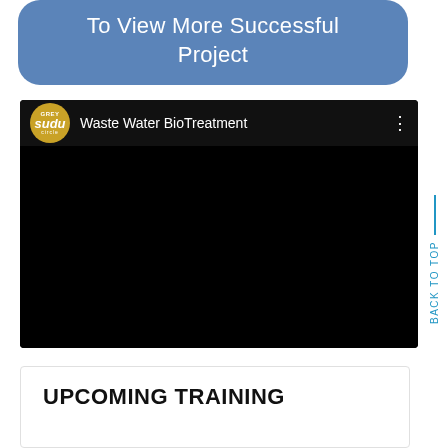To View More Successful Project
[Figure (screenshot): Video player showing 'Waste Water BioTreatment' with Sudu Circle logo, black video body]
UPCOMING TRAINING